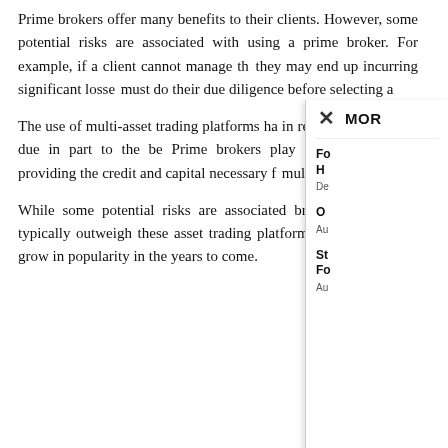Prime brokers offer many benefits to their clients. However, some potential risks are associated with using a prime broker. For example, if a client cannot manage the they may end up incurring significant losses must do their due diligence before selecting a
The use of multi-asset trading platforms ha in recent years. This is due in part to the be Prime brokers play an important role providing the credit and capital necessary fo multiple positions.
While some potential risks are associated broker, the benefits typically outweigh these asset trading platforms will continue to grow in popularity in the years to come.
[Figure (other): Overlay panel with close button (×) and MORE label, showing three sidebar article items with bold titles and small author/date subtitles: 'Fo H' with 'De', 'O' with 'Au', 'St Fo' with 'Au']